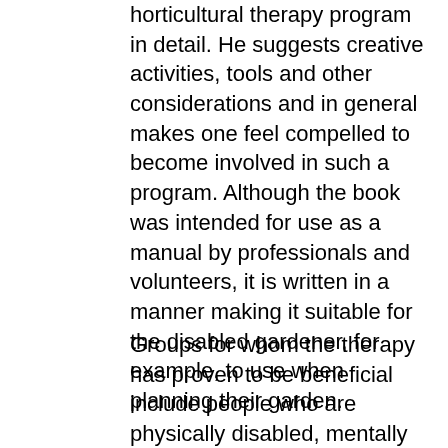horticultural therapy program in detail. He suggests creative activities, tools and other considerations and in general makes one feel compelled to become involved in such a program. Although the book was intended for use as a manual by professionals and volunteers, it is written in a manner making it suitable for the disabled gardener, for example, to use when planning their garden.
Groups for whom the therapy has proven to be beneficial include people who are physically disabled, mentally ill, developmentally disabled, elderly, substance abusers, public offenders and socially disadvantaged. By caring for plants individuals work with a product firmly anchored in